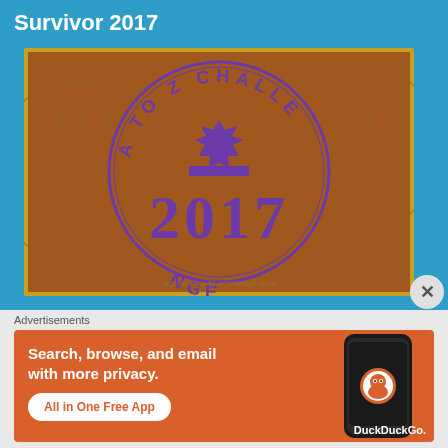Survivor 2017
[Figure (illustration): A-to-Z Challenge 2017 badge/stamp image in brown and purple with circular text reading 'A TO Z CHALLENGE' and the year '2017' in large purple numerals, with URL http://www.a-to-zchallenge.com/ at bottom]
Advertisements
[Figure (illustration): DuckDuckGo advertisement banner with orange background showing text 'Search, browse, and email with more privacy. All in One Free App' with a smartphone image and DuckDuckGo logo/name on right side]